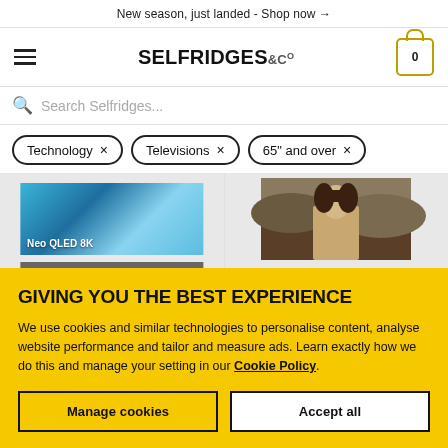New season, just landed - Shop now →
[Figure (logo): Selfridges & Co logo with hamburger menu and cart icon showing 0 items]
Search Selfridges...
Technology ×   Televisions ×   65" and over ×
[Figure (photo): Samsung Neo QLED 8K television product image with gift with purchase badge]
[Figure (photo): Samsung television displaying Mona Lisa artwork - The Frame TV]
GIVING YOU THE BEST EXPERIENCE
We use cookies and similar technologies to personalise content, analyse website performance and tailor and measure ads. Learn exactly how we do this and manage your setting in our Cookie Policy.
Manage cookies
Accept all